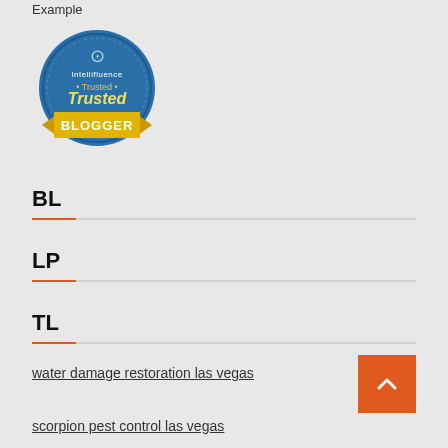Example
[Figure (logo): Intellifluence Trusted Blogger badge - circular blue badge with yellow banner reading BLOGGER]
BL
LP
TL
water damage restoration las vegas
scorpion pest control las vegas